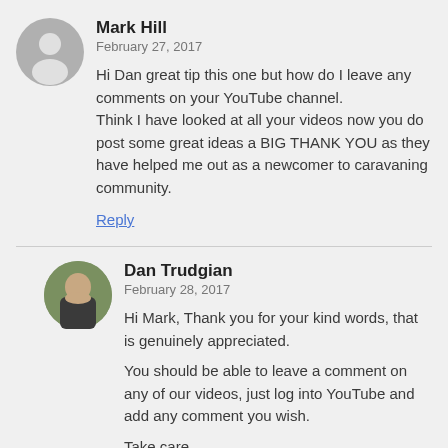[Figure (illustration): Grey circular avatar with silhouette person icon]
Mark Hill
February 27, 2017
Hi Dan great tip this one but how do I leave any comments on your YouTube channel.
Think I have looked at all your videos now you do post some great ideas a BIG THANK YOU as they have helped me out as a newcomer to caravaning community.
Reply
[Figure (photo): Circular photo of Dan Trudgian, a man facing the camera outdoors]
Dan Trudgian
February 28, 2017
Hi Mark, Thank you for your kind words, that is genuinely appreciated.

You should be able to leave a comment on any of our videos, just log into YouTube and add any comment you wish.

Take care
Dan